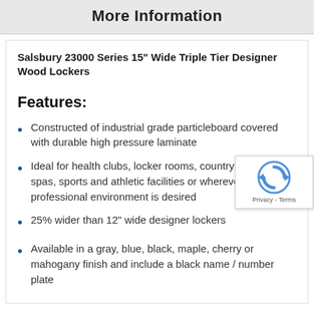More Information
Salsbury 23000 Series 15" Wide Triple Tier Designer Wood Lockers
Features:
Constructed of industrial grade particleboard covered with durable high pressure laminate
Ideal for health clubs, locker rooms, country clubs, day spas, sports and athletic facilities or wherever a professional environment is desired
25% wider than 12" wide designer lockers
Available in a gray, blue, black, maple, cherry or mahogany finish and include a black name / number plate